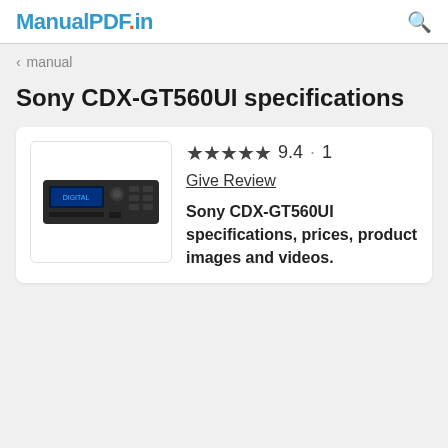ManualPDF.in
< manual
Sony CDX-GT560UI specifications
[Figure (photo): Product image of Sony CDX-GT560UI car radio/CD receiver with blue display]
★★★★★ 9.4 · 1  Give Review
Sony CDX-GT560UI specifications, prices, product images and videos.